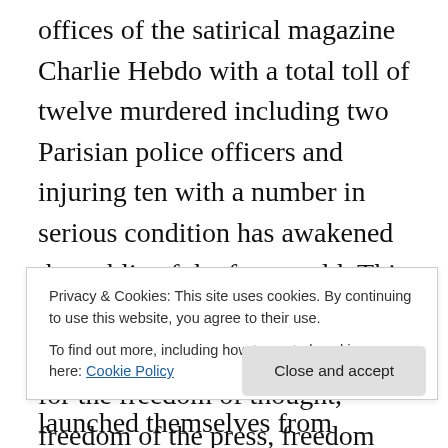offices of the satirical magazine Charlie Hebdo with a total toll of twelve murdered including two Parisian police officers and injuring ten with a number in serious condition has awakened the public of the free world. This severe cost in lives of these at the edge of the media who died for the freedom of thought, freedom of the press, freedom period is far from the first such spilling of innocents for thought by Islamist murderers. There was the murder of Theo Van Gough on 2 November 2004 at about 9 o'clock in the morning on the corner of the Linnaeusstraat and Tweede Oosternarkstraat in Amsterdam, Holland also
Privacy & Cookies: This site uses cookies. By continuing to use this website, you agree to their use.
To find out more, including how to control cookies, see here: Cookie Policy
Close and accept
burning to death while others launched themselves from